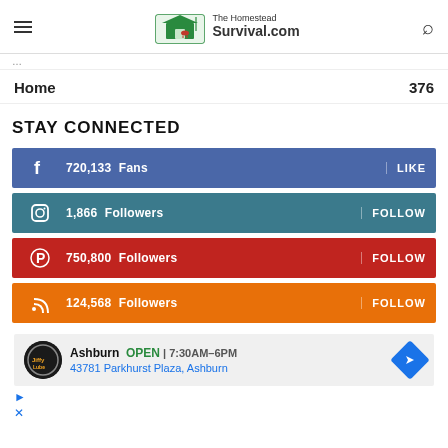The Homestead Survival.com
Home  376
STAY CONNECTED
720,133  Fans  LIKE
1,866  Followers  FOLLOW
750,800  Followers  FOLLOW
124,568  Followers  FOLLOW
[Figure (screenshot): Advertisement for Jiffy Lube auto service in Ashburn showing OPEN 7:30AM–6PM and address 43781 Parkhurst Plaza, Ashburn]